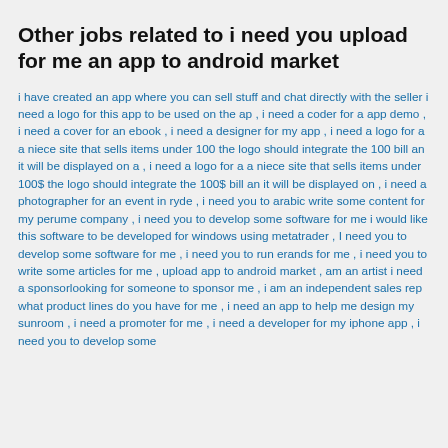Other jobs related to i need you upload for me an app to android market
i have created an app where you can sell stuff and chat directly with the seller i need a logo for this app to be used on the ap , i need a coder for a app demo , i need a cover for an ebook , i need a designer for my app , i need a logo for a a niece site that sells items under 100 the logo should integrate the 100 bill an it will be displayed on a , i need a logo for a a niece site that sells items under 100$ the logo should integrate the 100$ bill an it will be displayed on , i need a photographer for an event in ryde , i need you to arabic write some content for my perume company , i need you to develop some software for me i would like this software to be developed for windows using metatrader , I need you to develop some software for me , i need you to run erands for me , i need you to write some articles for me , upload app to android market , am an artist i need a sponsorlooking for someone to sponsor me , i am an independent sales rep what product lines do you have for me , i need an app to help me design my sunroom , i need a promoter for me , i need a developer for my iphone app , i need you to develop some